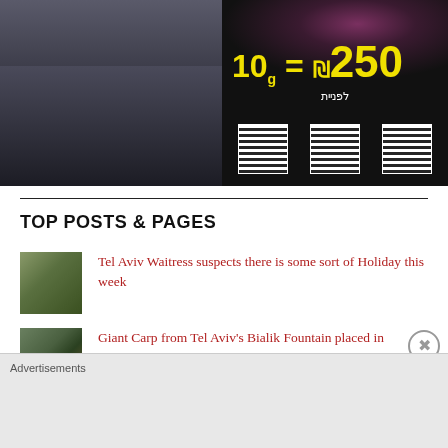[Figure (photo): Two photos side by side: left shows men in dark suits standing together; right shows a dark background with flowers, yellow text '10g = ₪250', Hebrew text, and three QR codes]
TOP POSTS & PAGES
[Figure (photo): Thumbnail of a waitress at a cafe in Tel Aviv]
Tel Aviv Waitress suspects there is some sort of Holiday this week
[Figure (photo): Thumbnail of a fountain with carp fish]
Giant Carp from Tel Aviv's Bialik Fountain placed in Protective Custody until after Passover
[Figure (photo): Thumbnail showing colorful Pride Week scene]
"Is he Gay or just being Israeli?" - a Helpful Guide for Pride Week Visitors
Advertisements